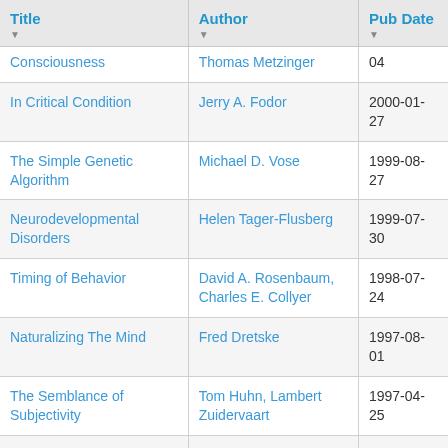| Title | Author | Pub Date |
| --- | --- | --- |
| Consciousness | Thomas Metzinger | 04 |
| In Critical Condition | Jerry A. Fodor | 2000-01-27 |
| The Simple Genetic Algorithm | Michael D. Vose | 1999-08-27 |
| Neurodevelopmental Disorders | Helen Tager-Flusberg | 1999-07-30 |
| Timing of Behavior | David A. Rosenbaum, Charles E. Collyer | 1998-07-24 |
| Naturalizing The Mind | Fred Dretske | 1997-08-01 |
| The Semblance of Subjectivity | Tom Huhn, Lambert Zuidervaart | 1997-04-25 |
| Artificial Life | Christopher G. Langton | 1997-01-22 |